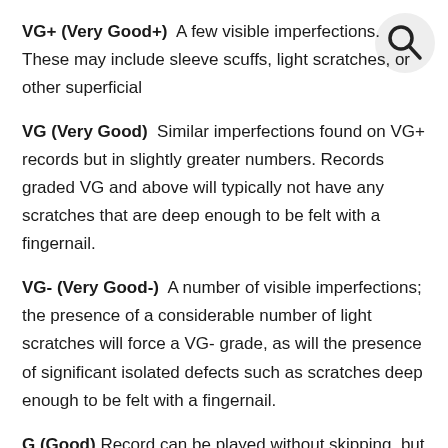VG+ (Very Good+)  A few visible imperfections. These may include sleeve scuffs, light scratches, or other superficial
[Figure (illustration): Search/magnifying glass icon in a light gray circle, top-right corner]
VG (Very Good)  Similar imperfections found on VG+ records but in slightly greater numbers. Records graded VG and above will typically not have any scratches that are deep enough to be felt with a fingernail.
VG- (Very Good-)  A number of visible imperfections; the presence of a considerable number of light scratches will force a VG- grade, as will the presence of significant isolated defects such as scratches deep enough to be felt with a fingernail.
G (Good) Record can be played without skipping, but will have significant surface noise, scratches, and visible groove wear. G+ and G- are used to indicate stronger and weaker copies within this range.
*SW/DNAP* Slight warp, does not affect playback